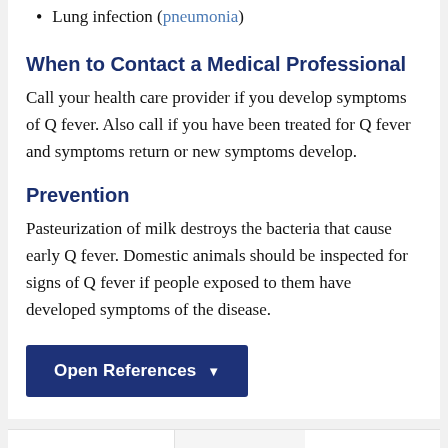Lung infection (pneumonia)
When to Contact a Medical Professional
Call your health care provider if you develop symptoms of Q fever. Also call if you have been treated for Q fever and symptoms return or new symptoms develop.
Prevention
Pasteurization of milk destroys the bacteria that cause early Q fever. Domestic animals should be inspected for signs of Q fever if people exposed to them have developed symptoms of the disease.
[Figure (other): Open References button — dark navy blue button with white bold text reading 'Open References' followed by a downward arrow]
Images
[Figure (photo): Partially visible thumbnail image in the Images section at the bottom of the page]